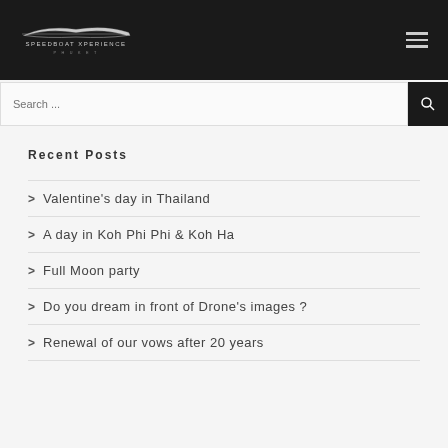Speedboat Xperience Phuket
Recent Posts
Valentine's day in Thailand
A day in Koh Phi Phi & Koh Ha
Full Moon party
Do you dream in front of Drone's images ?
Renewal of our vows after 20 years